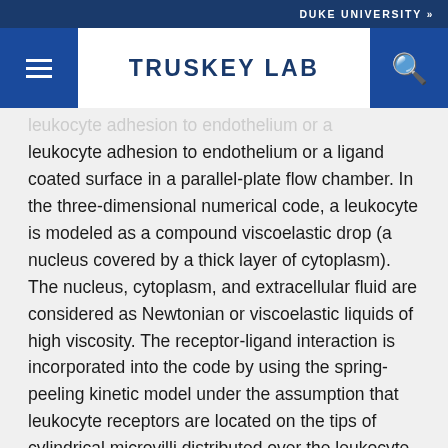DUKE UNIVERSITY »
TRUSKEY LAB
leukocyte adhesion to endothelium or a ligand coated surface in a parallel-plate flow chamber. In the three-dimensional numerical code, a leukocyte is modeled as a compound viscoelastic drop (a nucleus covered by a thick layer of cytoplasm). The nucleus, cytoplasm, and extracellular fluid are considered as Newtonian or viscoelastic liquids of high viscosity. The receptor-ligand interaction is incorporated into the code by using the spring-peeling kinetic model under the assumption that leukocyte receptors are located on the tips of cylindrical microvilli distributed over the leukocyte membrane. The code is based